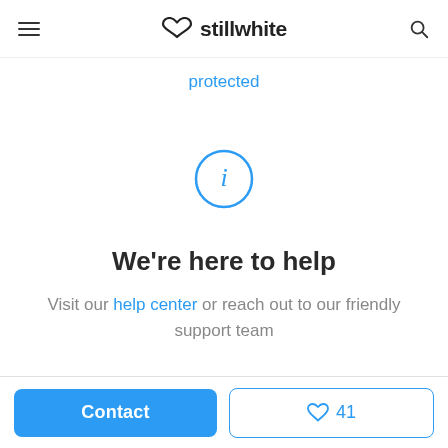stillwhite
protected
[Figure (illustration): Blue circle with a lowercase letter i inside, representing an information icon]
We're here to help
Visit our help center or reach out to our friendly support team
Contact | 41